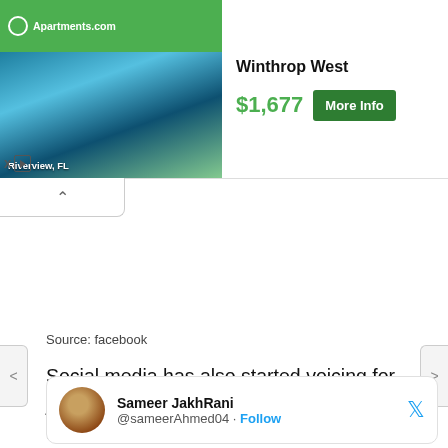[Figure (screenshot): Apartments.com advertisement banner showing Winthrop West apartment in Riverview FL for $1,677 with More Info button]
Source: facebook
Social media has also started voicing for justice in the case. It is believed that Faisal Mugheri, a day before his death, came from Karachi to Jacobabad in his new Mercedes SLK.
Sameer JakhRani @sameerAhmed04 · Follow